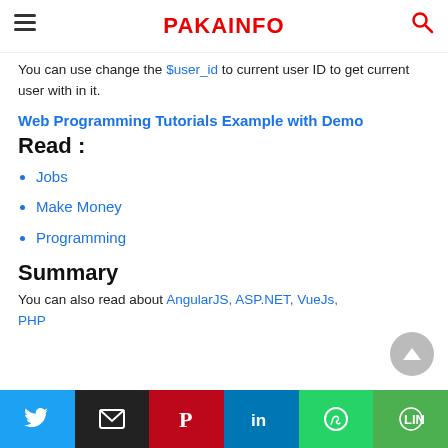PAKAINFO
You can use change the $user_id to current user ID to get current user with in it.
Web Programming Tutorials Example with Demo
Read :
Jobs
Make Money
Programming
Summary
You can also read about AngularJS, ASP.NET, VueJs, PHP
Social share buttons: Twitter, Email, Pinterest, LinkedIn, WhatsApp, Line